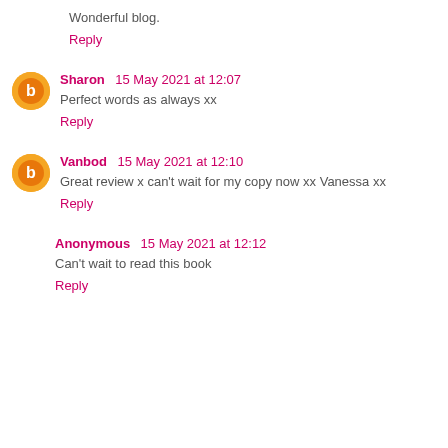Wonderful blog.
Reply
Sharon  15 May 2021 at 12:07
Perfect words as always xx
Reply
Vanbod  15 May 2021 at 12:10
Great review x can't wait for my copy now xx Vanessa xx
Reply
Anonymous  15 May 2021 at 12:12
Can't wait to read this book
Reply